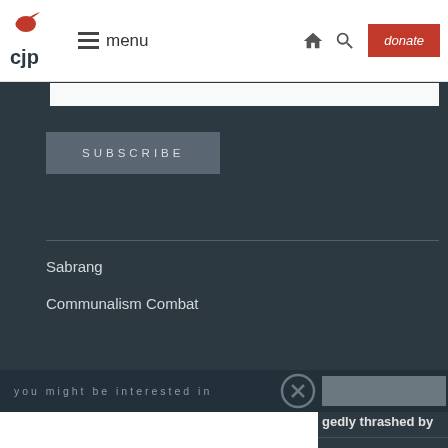CJP | menu | [home icon] [search icon] | donate
SUBSCRIBE
Sabrang
Communalism Combat
you might be interested in
gedly thrashed by
□□□□□□□ □□
my health and